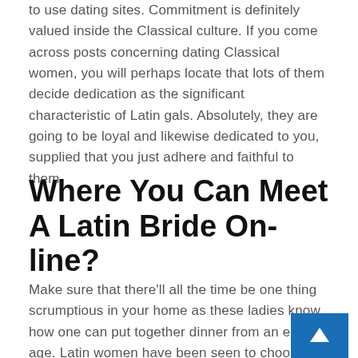to use dating sites. Commitment is definitely valued inside the Classical culture. If you come across posts concerning dating Classical women, you will perhaps locate that lots of them decide dedication as the significant characteristic of Latin gals. Absolutely, they are going to be loyal and likewise dedicated to you, supplied that you just adhere and faithful to them.
Where You Can Meet A Latin Bride On-line?
Make sure that there'll all the time be one thing scrumptious in your home as these ladies know how one can put together dinner from an early age. Latin women have been seen to choose legumes and greens, notably corn. It's wonderful how many completely totally different variations of dishes a girl can cook dinner at hous... that he has already had the expertise of engage...